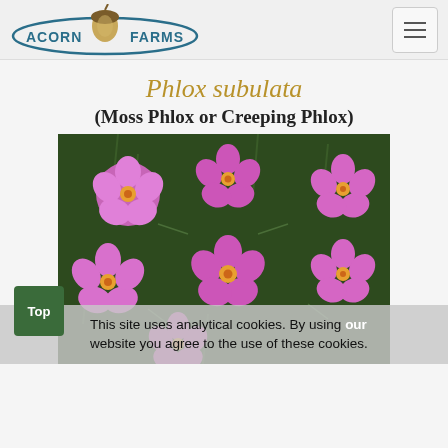Acorn Farms [logo] — navigation hamburger menu
Phlox subulata
(Moss Phlox or Creeping Phlox)
[Figure (photo): Close-up photo of pink Phlox subulata (Moss Phlox or Creeping Phlox) flowers with five rounded petals each and orange-yellow centers, blooming densely against dark green needle-like foliage.]
This site uses analytical cookies. By using our website you agree to the use of these cookies.